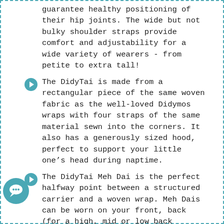guarantee healthy positioning of their hip joints. The wide but not bulky shoulder straps provide comfort and adjustability for a wide variety of wearers - from petite to extra tall!
The DidyTai is made from a rectangular piece of the same woven fabric as the well-loved Didymos wraps with four straps of the same material sewn into the corners. It also has a generously sized hood, perfect to support your little one’s head during naptime.
The DidyTai Meh Dai is the perfect halfway point between a structured carrier and a woven wrap. Meh Dais can be worn on your front, back (for a high, mid or low back carry), or on your hip. It can be worn apron